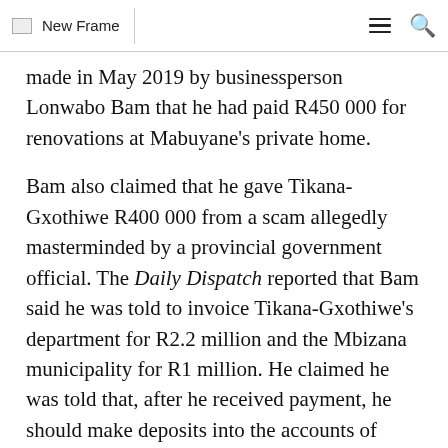New Frame
made in May 2019 by businessperson Lonwabo Bam that he had paid R450 000 for renovations at Mabuyane's private home.
Bam also claimed that he gave Tikana-Gxothiwe R400 000 from a scam allegedly masterminded by a provincial government official. The Daily Dispatch reported that Bam said he was told to invoice Tikana-Gxothiwe's department for R2.2 million and the Mbizana municipality for R1 million. He claimed he was told that, after he received payment, he should make deposits into the accounts of Babalo Madikizola, member of